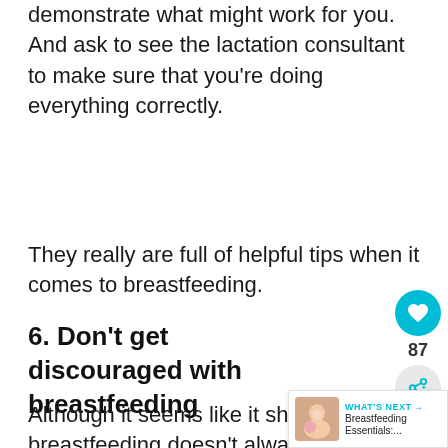demonstrate what might work for you. And ask to see the lactation consultant to make sure that you’re doing everything correctly.
They really are full of helpful tips when it comes to breastfeeding.
6. Don’t get discouraged with breastfeeding
Although it seems like it should, breastfeeding doesn’t always come
[Figure (infographic): Social media floating action buttons: cyan heart/like button with count 87, and a share button below it. Also a 'What's Next' banner in the bottom right with a small thumbnail image and text 'Breastfeeding Essentials:...']